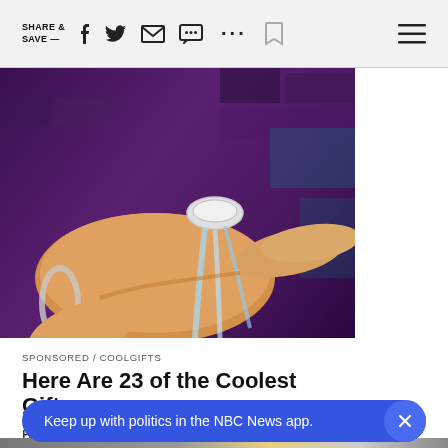SHARE & SAVE —
[Figure (photo): A hand wearing a ring-shaped gadget/device with water flowing through it, against a dark purple background]
SPONSORED / COOLGIFTS
Here Are 23 of the Coolest Gifts...
23 Insanely Cool Gadgets You'll Regret Not Getting Before They Sell Out
[Figure (photo): Partial bottom image showing tech gadgets with yellow and grey items]
Keep up with politics in the NBC News app.